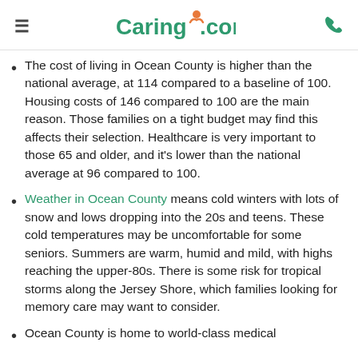Caring.com
The cost of living in Ocean County is higher than the national average, at 114 compared to a baseline of 100. Housing costs of 146 compared to 100 are the main reason. Those families on a tight budget may find this affects their selection. Healthcare is very important to those 65 and older, and it's lower than the national average at 96 compared to 100.
Weather in Ocean County means cold winters with lots of snow and lows dropping into the 20s and teens. These cold temperatures may be uncomfortable for some seniors. Summers are warm, humid and mild, with highs reaching the upper-80s. There is some risk for tropical storms along the Jersey Shore, which families looking for memory care may want to consider.
Ocean County is home to world-class medical